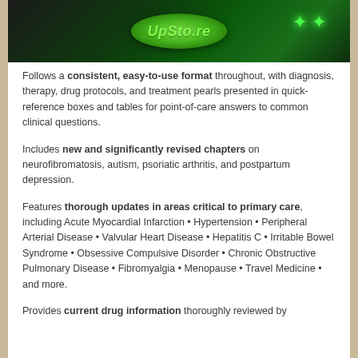[Figure (photo): Green server room / technology background image with a green oval logo displaying 'UpSto.re' text in green italic font. Green light bokeh dots visible in upper right corner.]
Follows a consistent, easy-to-use format throughout, with diagnosis, therapy, drug protocols, and treatment pearls presented in quick-reference boxes and tables for point-of-care answers to common clinical questions.
Includes new and significantly revised chapters on neurofibromatosis, autism, psoriatic arthritis, and postpartum depression.
Features thorough updates in areas critical to primary care, including Acute Myocardial Infarction • Hypertension • Peripheral Arterial Disease • Valvular Heart Disease • Hepatitis C • Irritable Bowel Syndrome • Obsessive Compulsive Disorder • Chronic Obstructive Pulmonary Disease • Fibromyalgia • Menopause • Travel Medicine • and more.
Provides current drug information thoroughly reviewed by